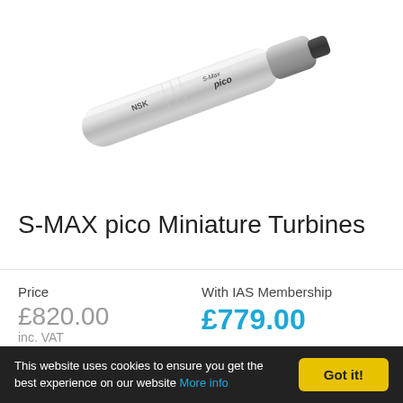[Figure (photo): NSK S-Max pico miniature turbine handpiece, silver/grey cylindrical product shown diagonally on white background]
S-MAX pico Miniature Turbines
Price £820.00 inc. VAT | With IAS Membership £779.00
This website uses cookies to ensure you get the best experience on our website More info Got it!